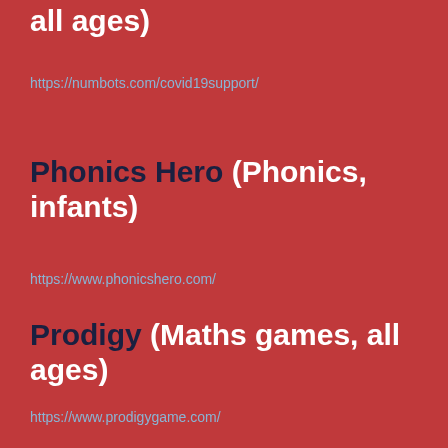all ages)
https://numbots.com/covid19support/
Phonics Hero (Phonics, infants)
https://www.phonicshero.com/
Prodigy (Maths games, all ages)
https://www.prodigygame.com/
Story board (Story Creation, all ages)